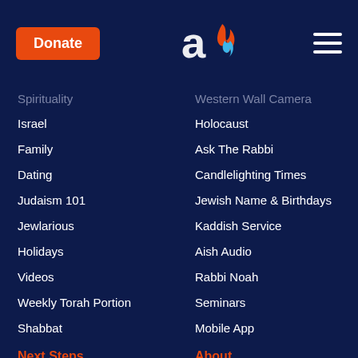Donate | Aish Logo | Menu
Spirituality
Western Wall Camera
Israel
Holocaust
Family
Ask The Rabbi
Dating
Candlelighting Times
Judaism 101
Jewish Name & Birthdays
Jewlarious
Kaddish Service
Holidays
Aish Audio
Videos
Rabbi Noah
Weekly Torah Portion
Seminars
Shabbat
Mobile App
Next Steps
About
Aish Academy
Contact Aish.com
One-on-One Learning
Contact Aish Jerusalem
Israel Programs
About Aish.com
About Aish Global
Submit Article